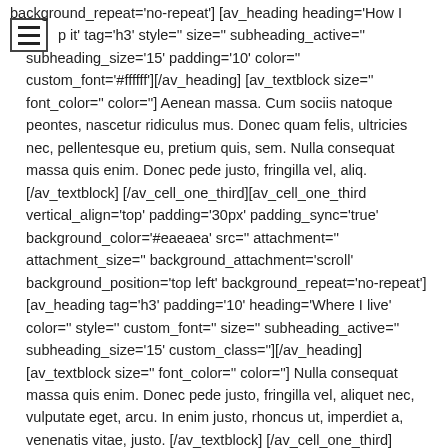background_repeat='no-repeat'] [av_heading heading='How I p it' tag='h3' style=" size=" subheading_active=" subheading_size='15' padding='10' color=" custom_font='#ffffff'][/av_heading] [av_textblock size=" font_color=" color="] Aenean massa. Cum sociis natoque peontes, nascetur ridiculus mus. Donec quam felis, ultricies nec, pellentesque eu, pretium quis, sem. Nulla consequat massa quis enim. Donec pede justo, fringilla vel, aliq. [/av_textblock] [/av_cell_one_third][av_cell_one_third vertical_align='top' padding='30px' padding_sync='true' background_color='#eaeaea' src=" attachment=" attachment_size=" background_attachment='scroll' background_position='top left' background_repeat='no-repeat'] [av_heading tag='h3' padding='10' heading='Where I live' color=" style=" custom_font=" size=" subheading_active=" subheading_size='15' custom_class="][/av_heading] [av_textblock size=" font_color=" color="] Nulla consequat massa quis enim. Donec pede justo, fringilla vel, aliquet nec, vulputate eget, arcu. In enim justo, rhoncus ut, imperdiet a, venenatis vitae, justo. [/av_textblock] [/av_cell_one_third] [/av_layout_row][av_section color='main_color' custom_bg='#770000' src=" attachment=" attachment_size=" attach='scroll' position='top left' repeat='no-repeat' video=" video_ratio='16:9' min_height=" min_height_px='500px' padding='default' shadow='no-border-styling' bottom_border='border-extra-arrow-down' id="] [av_one_fourth first] [av_animated_numbers number='97' icon_select='no' icon='ue800' font='entypo-fontello' font_size=" font_size_description=" link=" linktarget='no' color='font-light'